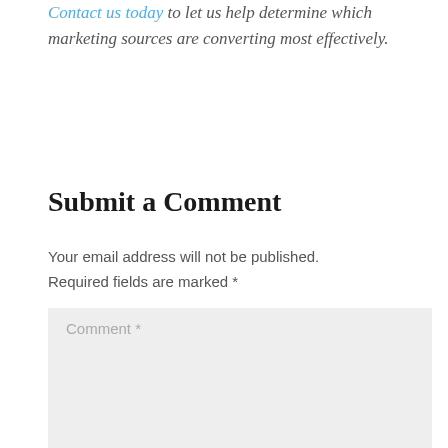Contact us today to let us help determine which marketing sources are converting most effectively.
Submit a Comment
Your email address will not be published. Required fields are marked *
Comment *